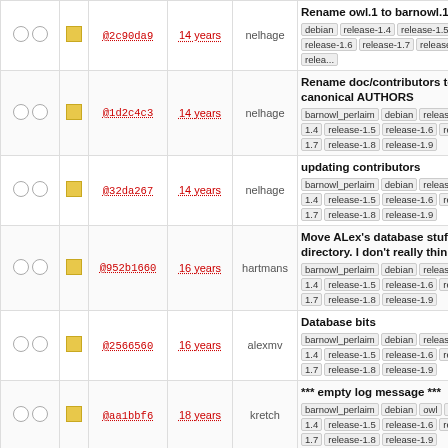|  |  | hash | age | author | message |
| --- | --- | --- | --- | --- | --- |
| ○○ | ▪ | @2c90da9 | 14 years | nelhage | Rename owl.1 to barnowl.1
debian release-1.4 release-1.5 release-1.6 release-1.7 release-1.8 relea... |
| ○○ | ▪ | @1d2c4c3 | 14 years | nelhage | Rename doc/contributors to the canonical AUTHORS
barnowl_perlaim debian release-1.4 release-1.5 release-1.6 relea... release-1.7 release-1.8 release-1.9 |
| ○○ | ▪ | @32da267 | 14 years | nelhage | updating contributors
barnowl_perlaim debian release-1.4 release-1.5 release-1.6 relea... release-1.7 release-1.8 release-1.9 |
| ○○ | ▪ | @952b1660 | 16 years | hartmans | Move ALex's database stuff into directory. I don't really think ...
barnowl_perlaim debian release-1.4 release-1.5 release-1.6 relea... release-1.7 release-1.8 release-1.9 |
| ○○ | ▪ | @2566560 | 16 years | alexmv | Database bits
barnowl_perlaim debian release-1.4 release-1.5 release-1.6 relea... release-1.7 release-1.8 release-1.9 |
| ○○ | ▪ | @aa1bbf6 | 18 years | kretch | *** empty log message ***
barnowl_perlaim debian owl re... release-1.4 release-1.5 release-1.6 relea... release-1.7 release-1.8 release-1.9 |
| ○○ | ▪ | @1d1244a2 | 18 years | kretch | *** empty log message ***
barnowl_perlaim debian owl re... release-1.4 release-1.5 release-1.6 relea... release-1.7 release-1.8 release-1.9 |
| ○○ | ▪ | @5f82eb3 | 19 years | kretch | Updated man page
barnowl_perlaim debian owl re... release-1.4 release-1.5 release-1.6 relea... release-1.7 release-1.8 release-1.9 |